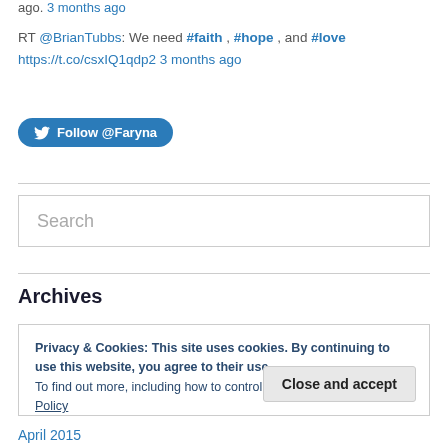ago. 3 months ago
RT @BrianTubbs: We need #faith , #hope , and #love https://t.co/csxIQ1qdp2 3 months ago
[Figure (other): Follow @Faryna Twitter button]
Search
Archives
Privacy & Cookies: This site uses cookies. By continuing to use this website, you agree to their use.
To find out more, including how to control cookies, see here: Cookie Policy
Close and accept
April 2015